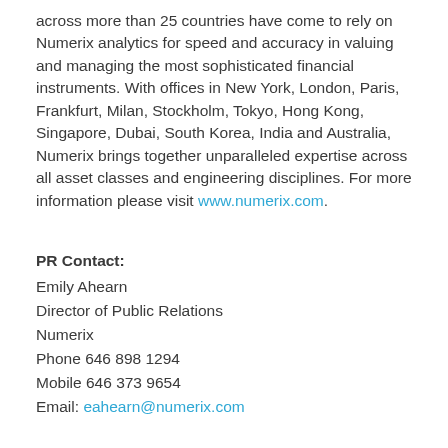across more than 25 countries have come to rely on Numerix analytics for speed and accuracy in valuing and managing the most sophisticated financial instruments. With offices in New York, London, Paris, Frankfurt, Milan, Stockholm, Tokyo, Hong Kong, Singapore, Dubai, South Korea, India and Australia, Numerix brings together unparalleled expertise across all asset classes and engineering disciplines. For more information please visit www.numerix.com.
PR Contact: Emily Ahearn, Director of Public Relations, Numerix, Phone 646 898 1294, Mobile 646 373 9654, Email: eahearn@numerix.com